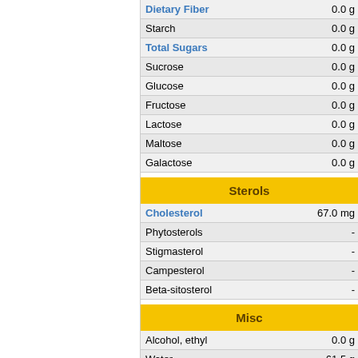| Nutrient | Value |
| --- | --- |
| Dietary Fiber | 0.0 g |
| Starch | 0.0 g |
| Total Sugars | 0.0 g |
| Sucrose | 0.0 g |
| Glucose | 0.0 g |
| Fructose | 0.0 g |
| Lactose | 0.0 g |
| Maltose | 0.0 g |
| Galactose | 0.0 g |
Sterols
| Nutrient | Value |
| --- | --- |
| Cholesterol | 67.0 mg |
| Phytosterols | - |
| Stigmasterol | - |
| Campesterol | - |
| Beta-sitosterol | - |
Misc
| Nutrient | Value |
| --- | --- |
| Alcohol, ethyl | 0.0 g |
| Water | 61.5 g |
| Energy | 209.0 kcal |